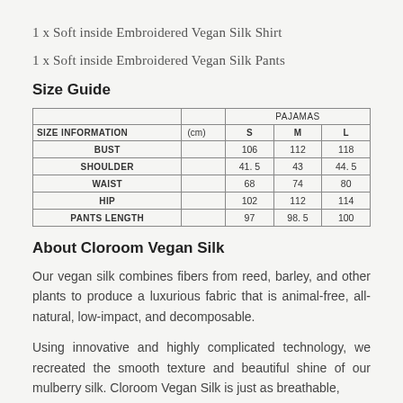1 x Soft inside Embroidered Vegan Silk Shirt
1 x Soft inside Embroidered Vegan Silk Pants
Size Guide
| SIZE INFORMATION | (cm) | S | M | L |
| --- | --- | --- | --- | --- |
| BUST |  | 106 | 112 | 118 |
| SHOULDER |  | 41. 5 | 43 | 44. 5 |
| WAIST |  | 68 | 74 | 80 |
| HIP |  | 102 | 112 | 114 |
| PANTS LENGTH |  | 97 | 98. 5 | 100 |
About Cloroom Vegan Silk
Our vegan silk combines fibers from reed, barley, and other plants to produce a luxurious fabric that is animal-free, all-natural, low-impact, and decomposable.
Using innovative and highly complicated technology, we recreated the smooth texture and beautiful shine of our mulberry silk. Cloroom Vegan Silk is just as breathable,